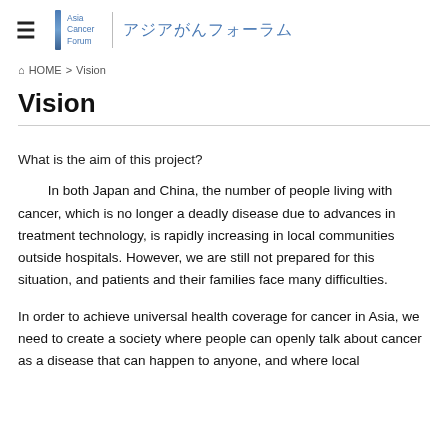Asia Cancer Forum | アジアがんフォーラム
HOME > Vision
Vision
What is the aim of this project?
In both Japan and China, the number of people living with cancer, which is no longer a deadly disease due to advances in treatment technology, is rapidly increasing in local communities outside hospitals. However, we are still not prepared for this situation, and patients and their families face many difficulties.
In order to achieve universal health coverage for cancer in Asia, we need to create a society where people can openly talk about cancer as a disease that can happen to anyone, and where local